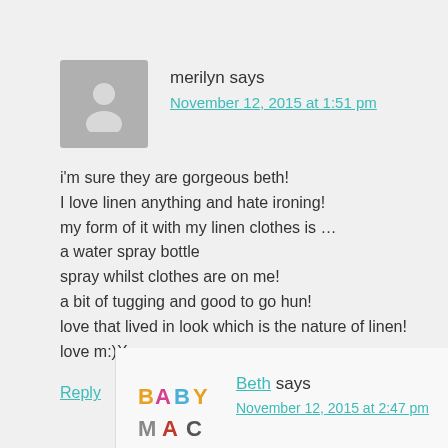[Figure (illustration): Gray avatar placeholder with white person silhouette icon]
merilyn says
November 12, 2015 at 1:51 pm
i'm sure they are gorgeous beth!
I love linen anything and hate ironing!
my form of it with my linen clothes is ...
a water spray bottle
spray whilst clothes are on me!
a bit of tugging and good to go hun!
love that lived in look which is the nature of linen!
love m:)X
Reply
[Figure (logo): Baby Mac logo - colorful text logo with BABY MAC text]
Beth says
November 12, 2015 at 2:47 pm